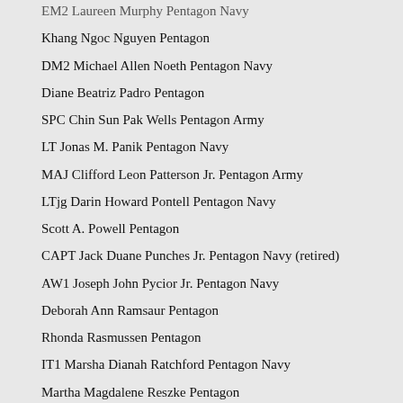EM2 Laureen Murphy Pentagon Navy
Khang Ngoc Nguyen Pentagon
DM2 Michael Allen Noeth Pentagon Navy
Diane Beatriz Padro Pentagon
SPC Chin Sun Pak Wells Pentagon Army
LT Jonas M. Panik Pentagon Navy
MAJ Clifford Leon Patterson Jr. Pentagon Army
LTjg Darin Howard Pontell Pentagon Navy
Scott A. Powell Pentagon
CAPT Jack Duane Punches Jr. Pentagon Navy (retired)
AW1 Joseph John Pycior Jr. Pentagon Navy
Deborah Ann Ramsaur Pentagon
Rhonda Rasmussen Pentagon
IT1 Marsha Dianah Ratchford Pentagon Navy
Martha Magdalene Reszke Pentagon
Cecelia Elizabeth Richard Pentagon
Edward Veld Rowenhorst Pentagon
Judy Rowlett Pentagon
SGM Robert Errol Russell Pentagon Army (retired)
CW4 William Roderick Ruth Pentagon Navy